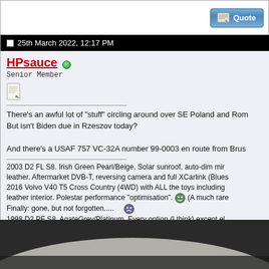25th March 2022, 12:17 PM
HPsauce  Senior Member
There's an awful lot of "stuff" circling around over SE Poland and Rom... But isn't Biden due in Rzeszov today?

And there's a USAF 757 VC-32A number 99-0003 en route from Brus...
2003 D2 FL S8. Irish Green Pearl/Beige. Solar sunroof, auto-dim mir... leather. Aftermarket DVB-T, reversing camera and full XCarlink (Blues... 2016 Volvo V40 T5 Cross Country (4WD) with ALL the toys including... leather interior. Polestar performance "optimisation". (A much rare...
Finally: gone, but not forgotten.....
1998 D2 PF S8. AgateGrey/Platinum. Every option (I think) except el... dimming door mirrors.
e.g. Cruise control, NavPlus/TV, Bose, GSM, Xenons, Solar roof, Par...
(internal dimming mirror added later)
1998 (very early) Ford Focus 1.8 Zetec; ABS/TCS, Heated screen/mi... control, OEM Ford SatNav with CD changer.
[Figure (photo): Bottom portion of a car roof/windscreen area, dark background, partial view of white car surface]